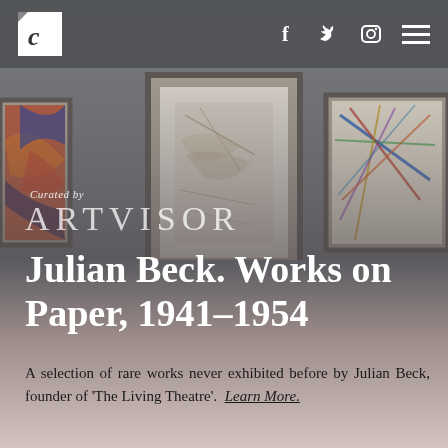Navigation bar with logo C, social icons f, twitter, instagram, and hamburger menu
[Figure (photo): Gallery wall with three framed artworks on a grey wall. Left frame shows abstract colorful painting in red, orange, blue. Center frame is a large white-matted frame with a light-colored abstract drawing. Right frame shows a colorful geometric abstract work.]
Curated by
ARTVISOR
Julian Beck. Works on Paper, 1941-1954
A selection of rare works never exhibited before by Julian Beck, founder of 'The Living Theatre'. Learn More.